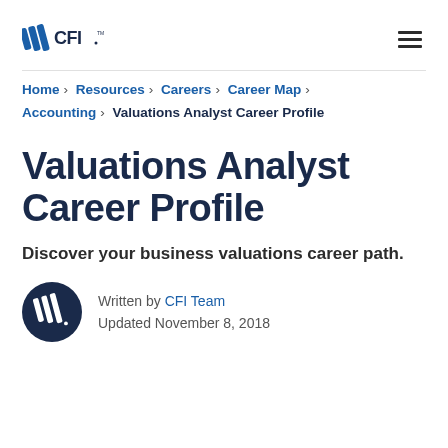CFI logo and navigation hamburger menu
Home › Resources › Careers › Career Map › Accounting › Valuations Analyst Career Profile
Valuations Analyst Career Profile
Discover your business valuations career path.
Written by CFI Team
Updated November 8, 2018